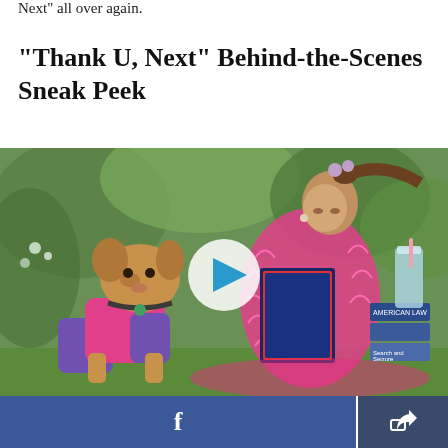Next” all over again.
"Thank U, Next" Behind-the-Scenes Sneak Peek
[Figure (photo): Behind-the-scenes photo of a woman in a pink feathery outfit holding a book, with a small dog dressed in a pink and purple sweater beside her and stacks of books including 'American Law' and 'Search and Seizure' visible. A play button overlay is centered on the image.]
Facebook share button and share/export button